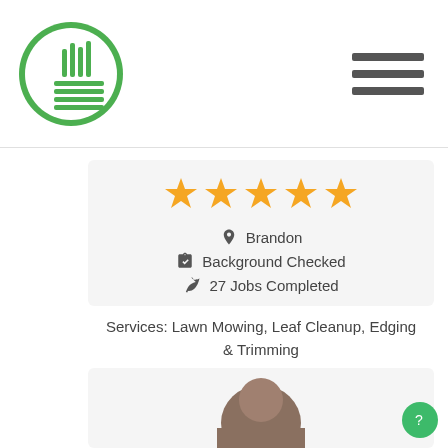[Figure (logo): Green circular lawn service logo with grass/rake icon and horizontal lines]
[Figure (illustration): Hamburger menu icon — three dark horizontal bars]
[Figure (illustration): Five gold star rating]
Brandon
Background Checked
27 Jobs Completed
Services: Lawn Mowing, Leaf Cleanup, Edging & Trimming
[Figure (photo): Circular profile photo of a person, partially visible at bottom of page]